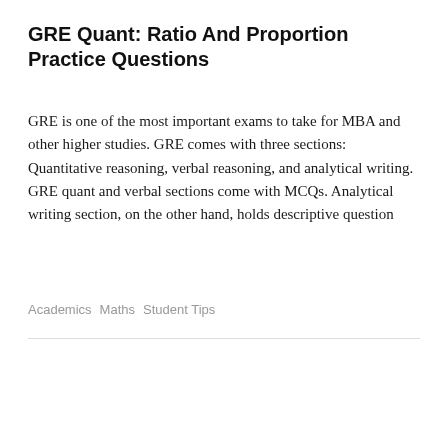GRE Quant: Ratio And Proportion Practice Questions
GRE is one of the most important exams to take for MBA and other higher studies. GRE comes with three sections: Quantitative reasoning, verbal reasoning, and analytical writing. GRE quant and verbal sections come with MCQs. Analytical writing section, on the other hand, holds descriptive question
Academics  Maths  Student Tips